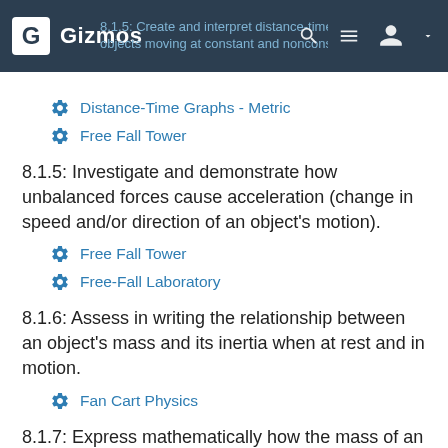Gizmos | 8.1.5: Create and interpret distance-time graphs for objects moving at constant and nonconstant speeds
Distance-Time Graphs - Metric
Free Fall Tower
8.1.5: Investigate and demonstrate how unbalanced forces cause acceleration (change in speed and/or direction of an object's motion).
Free Fall Tower
Free-Fall Laboratory
8.1.6: Assess in writing the relationship between an object's mass and its inertia when at rest and in motion.
Fan Cart Physics
8.1.7: Express mathematically how the mass of an